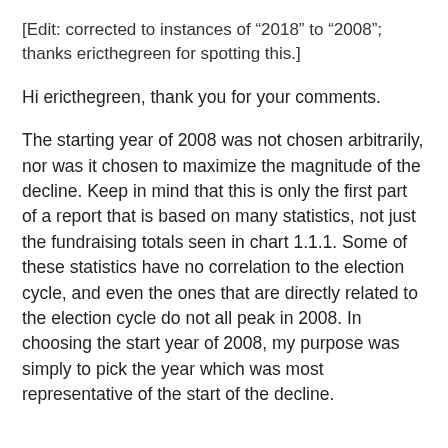[Edit: corrected to instances of “2018” to “2008”; thanks ericthegreen for spotting this.]
Hi ericthegreen, thank you for your comments.
The starting year of 2008 was not chosen arbitrarily, nor was it chosen to maximize the magnitude of the decline. Keep in mind that this is only the first part of a report that is based on many statistics, not just the fundraising totals seen in chart 1.1.1. Some of these statistics have no correlation to the election cycle, and even the ones that are directly related to the election cycle do not all peak in 2008. In choosing the start year of 2008, my purpose was simply to pick the year which was most representative of the start of the decline.